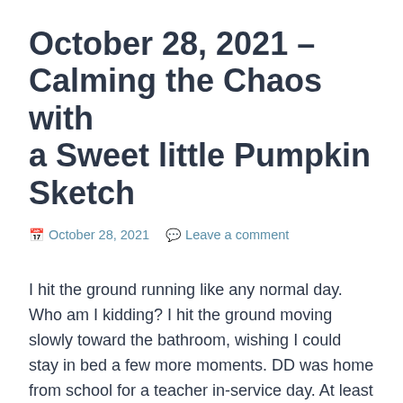October 28, 2021 – Calming the Chaos with a Sweet little Pumpkin Sketch
📅 October 28, 2021  💬 Leave a comment
I hit the ground running like any normal day. Who am I kidding? I hit the ground moving slowly toward the bathroom, wishing I could stay in bed a few more moments. DD was home from school for a teacher in-service day. At least I didn't have to get her up and out the door. I got dressed, made breakfast, we ate breakfast, and I moved on to straightening up and chipping orders